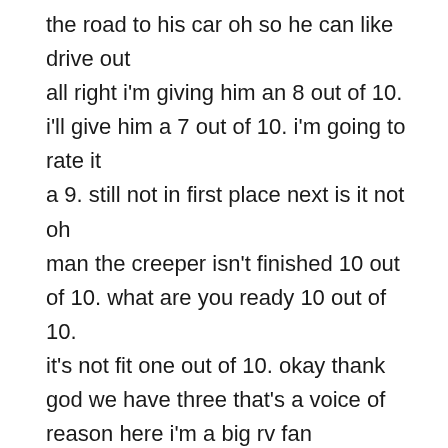the road to his car oh so he can like drive out all right i'm giving him an 8 out of 10. i'll give him a 7 out of 10. i'm going to rate it a 9. still not in first place next is it not oh man the creeper isn't finished 10 out of 10. what are you ready 10 out of 10. it's not fit one out of 10. okay thank god we have three that's a voice of reason here i'm a big rv fan 10 out of 10. i give it i give it an eight it's pretty good honestly i give it a nine i i like the scenery with the rv that's 27 points so now this rv